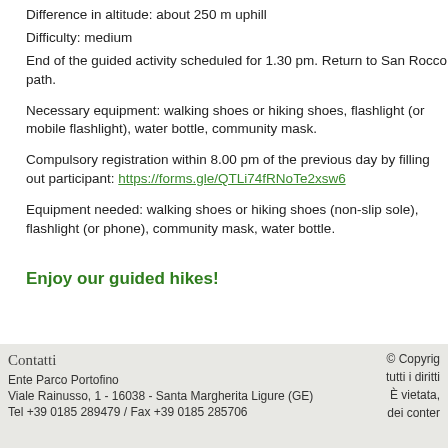Difference in altitude: about 250 m uphill
Difficulty: medium
End of the guided activity scheduled for 1.30 pm. Return to San Rocco path.
Necessary equipment: walking shoes or hiking shoes, flashlight (or mobile flashlight), water bottle, community mask.
Compulsory registration within 8.00 pm of the previous day by filling out participant: https://forms.gle/QTLi74fRNoTe2xsw6
Equipment needed: walking shoes or hiking shoes (non-slip sole), flashlight (or phone), community mask, water bottle.
Enjoy our guided hikes!
Contatti | Ente Parco Portofino | Viale Rainusso, 1 - 16038 - Santa Margherita Ligure (GE) | Tel +39 0185 289479 / Fax +39 0185 285706 | © Copyright tutti i diritti È vietata, dei conter